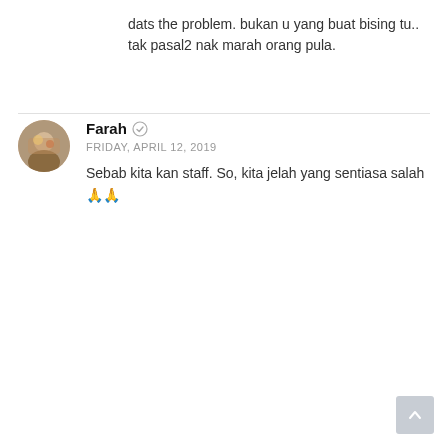dats the problem. bukan u yang buat bising tu.. tak pasal2 nak marah orang pula.
Farah  FRIDAY, APRIL 12, 2019  Sebab kita kan staff. So, kita jelah yang sentiasa salah 🙏🙏